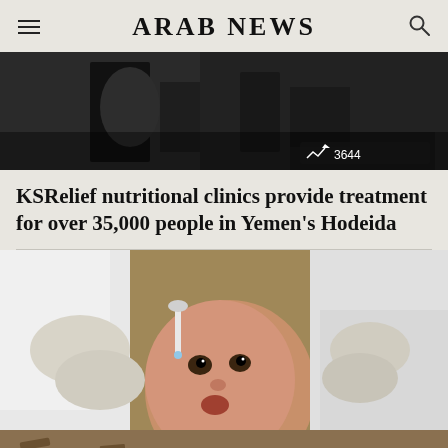ARAB NEWS
[Figure (photo): Dark toned photo, appears to show a person in dark clothing, partially visible. Badge overlay shows trending icon and number 3644.]
KSRelief nutritional clinics provide treatment for over 35,000 people in Yemen's Hodeida
[Figure (photo): Close-up photo of a healthcare worker in white coat and gloves administering oral drops to a young child/infant who is looking at the camera. Medical treatment scene.]